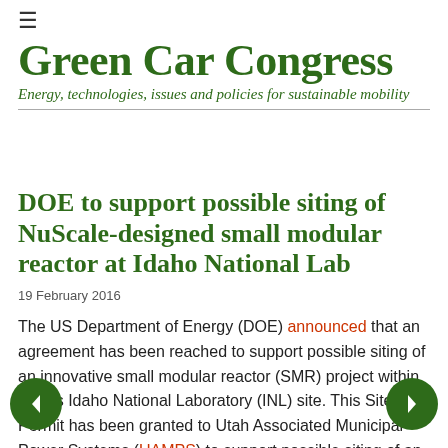Green Car Congress
Energy, technologies, issues and policies for sustainable mobility
DOE to support possible siting of NuScale-designed small modular reactor at Idaho National Lab
19 February 2016
The US Department of Energy (DOE) announced that an agreement has been reached to support possible siting of an innovative small modular reactor (SMR) project within DOE's Idaho National Laboratory (INL) site. This Site Use Permit has been granted to Utah Associated Municipal Power Systems (UAMPS) to support possible siting of an innovative small modular reactor (SMR) project within